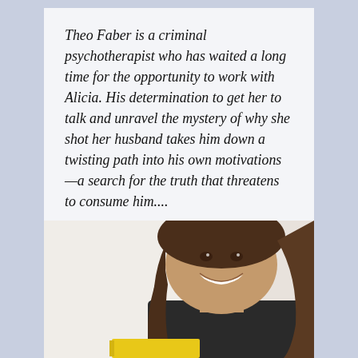Theo Faber is a criminal psychotherapist who has waited a long time for the opportunity to work with Alicia. His determination to get her to talk and unravel the mystery of why she shot her husband takes him down a twisting path into his own motivations—a search for the truth that threatens to consume him....
[Figure (photo): A smiling woman with long dark wavy hair, partially visible, holding what appears to be a yellow book cover at the bottom of the frame. Set against a light background.]